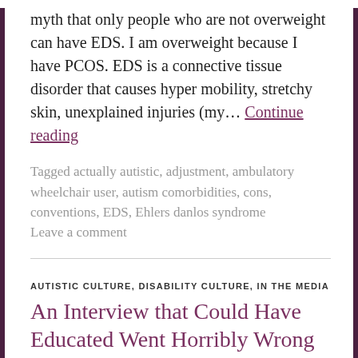myth that only people who are not overweight can have EDS. I am overweight because I have PCOS. EDS is a connective tissue disorder that causes hyper mobility, stretchy skin, unexplained injuries (my… Continue reading
Tagged actually autistic, adjustment, ambulatory wheelchair user, autism comorbidities, cons, conventions, EDS, Ehlers danlos syndrome
Leave a comment
AUTISTIC CULTURE, DISABILITY CULTURE, IN THE MEDIA
An Interview that Could Have Educated Went Horribly Wrong
August 16, 2021   Aviva Seigler